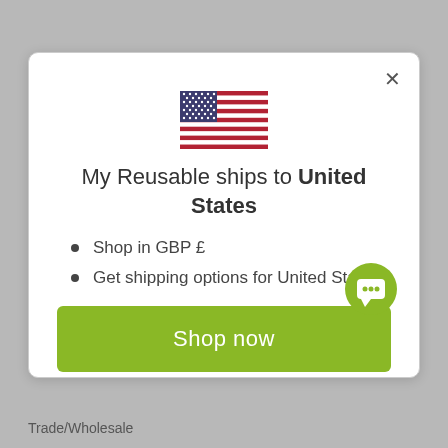[Figure (illustration): US flag SVG inline illustration centered above the modal title]
My Reusable ships to United States
Shop in GBP £
Get shipping options for United States
Shop now
Change shipping country
Trade/Wholesale